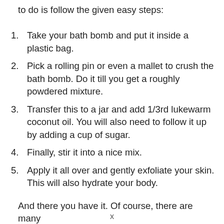to do is follow the given easy steps:
Take your bath bomb and put it inside a plastic bag.
Pick a rolling pin or even a mallet to crush the bath bomb. Do it till you get a roughly powdered mixture.
Transfer this to a jar and add 1/3rd lukewarm coconut oil. You will also need to follow it up by adding a cup of sugar.
Finally, stir it into a nice mix.
Apply it all over and gently exfoliate your skin. This will also hydrate your body.
And there you have it. Of course, there are many
x